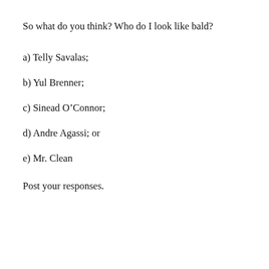So what do you think? Who do I look like bald?
a) Telly Savalas;
b) Yul Brenner;
c) Sinead O’Connor;
d) Andre Agassi; or
e) Mr. Clean
Post your responses.